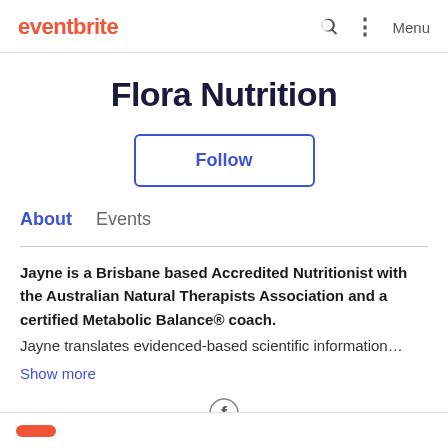eventbrite
Flora Nutrition
Follow
About   Events
Jayne is a Brisbane based Accredited Nutritionist with the Australian Natural Therapists Association and a certified Metabolic Balance® coach. Jayne translates evidenced-based scientific information…
Show more